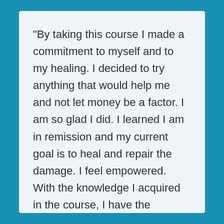“By taking this course I made a commitment to myself and to my healing. I decided to try anything that would help me and not let money be a factor. I am so glad I did. I learned I am in remission and my current goal is to heal and repair the damage. I feel empowered. With the knowledge I acquired in the course, I have the necessary information to take my